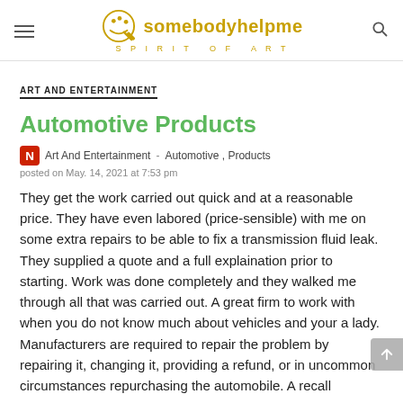somebodyhelpme SPIRIT OF ART
ART AND ENTERTAINMENT
Automotive Products
Art And Entertainment  -  Automotive , Products
posted on May. 14, 2021 at 7:53 pm
They get the work carried out quick and at a reasonable price. They have even labored (price-sensible) with me on some extra repairs to be able to fix a transmission fluid leak. They supplied a quote and a full explaination prior to starting. Work was done completely and they walked me through all that was carried out. A great firm to work with when you do not know much about vehicles and your a lady. Manufacturers are required to repair the problem by repairing it, changing it, providing a refund, or in uncommon circumstances repurchasing the automobile. A recall